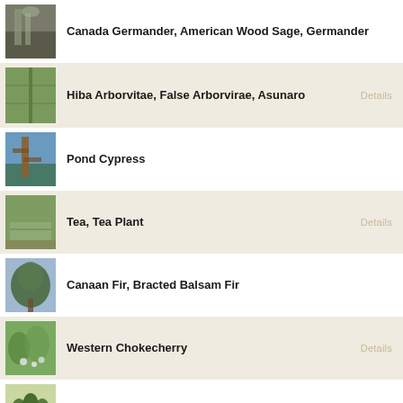Canada Germander, American Wood Sage, Germander
Hiba Arborvitae, False Arborvirae, Asunaro
Pond Cypress
Tea, Tea Plant
Canaan Fir, Bracted Balsam Fir
Western Chokecherry
California Mountain Ash
Castor Bean